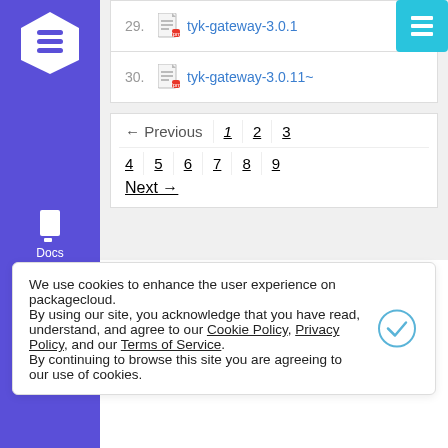[Figure (logo): Blue hexagon logo with white wave/stack icon (Packagecloud sidebar logo)]
29. tyk-gateway-3.0.1
30. tyk-gateway-3.0.11~
← Previous  1  2  3  4  5  6  7  8  9  Next →
We use cookies to enhance the user experience on packagecloud. By using our site, you acknowledge that you have read, understand, and agree to our Cookie Policy, Privacy Policy, and our Terms of Service. By continuing to browse this site you are agreeing to our use of cookies.